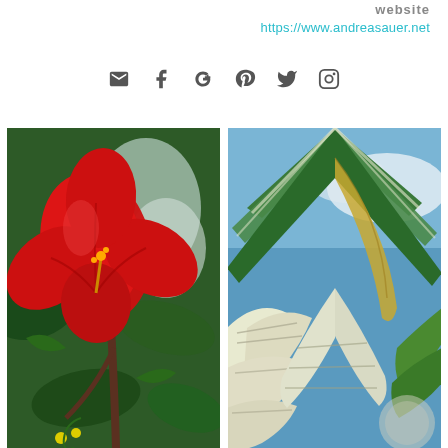Website
https://www.andreasauer.net
[Figure (infographic): Social media icons: email, Facebook, Google+, Pinterest, Twitter, Instagram]
[Figure (photo): Painting of a red hibiscus flower with green foliage background]
[Figure (photo): Painting of tropical palm and monstera leaves with blue sky background]